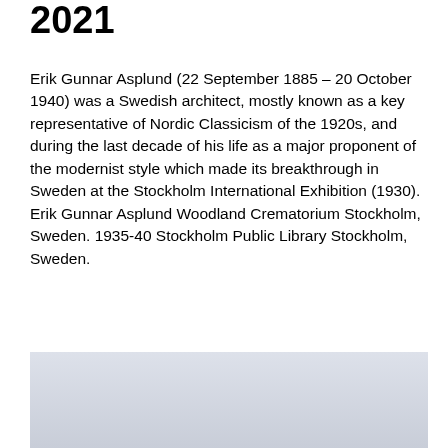2021
Erik Gunnar Asplund (22 September 1885 – 20 October 1940) was a Swedish architect, mostly known as a key representative of Nordic Classicism of the 1920s, and during the last decade of his life as a major proponent of the modernist style which made its breakthrough in Sweden at the Stockholm International Exhibition (1930). Erik Gunnar Asplund Woodland Crematorium Stockholm, Sweden. 1935-40 Stockholm Public Library Stockholm, Sweden.
[Figure (photo): Photograph, partially visible at bottom of page, showing a light blue-grey exterior view, likely of a building associated with Erik Gunnar Asplund.]